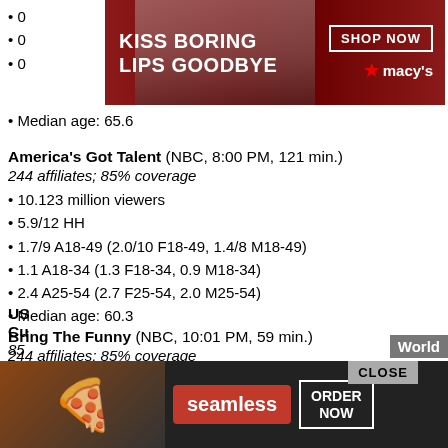[Figure (screenshot): Macy's advertisement banner: red background, woman with red lips, text 'KISS BORING LIPS GOODBYE', 'SHOP NOW' button, Macy's star logo]
Median age: 65.6
America's Got Talent (NBC, 8:00 PM, 121 min.)
244 affiliates; 85% coverage
10.123 million viewers
5.9/12 HH
1.7/9 A18-49 (2.0/10 F18-49, 1.4/8 M18-49)
1.1 A18-34 (1.3 F18-34, 0.9 M18-34)
2.4 A25-54 (2.7 F25-54, 2.0 M25-54)
Median age: 60.3
Bring The Funny (NBC, 10:01 PM, 59 min.)
244 affiliates; 85% coverage
4.327 million viewers
2.7/6 HH
0.9/5 A18-49 (1.0/5 F18-49, 0.7/4 M18-49)
0.4 A18-34 (0.6 F18-34, 0.3 M18-34)
1.2 A25-54 (1.4 F25-54, 1.0 M25-54)
Median age: 58.0
[Figure (screenshot): Seamless food delivery advertisement: dark background, pizza image, Seamless logo in red, 'ORDER NOW' button, CLOSE button]
World
US... Cu... 85...